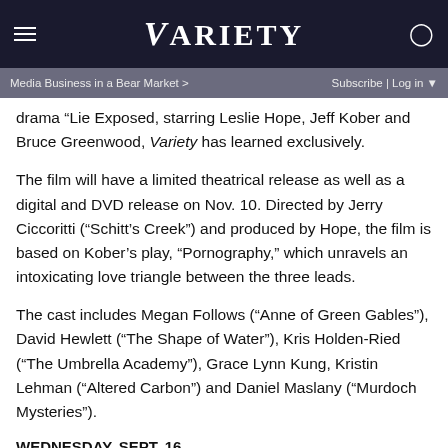VARIETY
Media Business in a Bear Market >   Subscribe | Log in ▼
drama “Lie Exposed, starring Leslie Hope, Jeff Kober and Bruce Greenwood, Variety has learned exclusively.
The film will have a limited theatrical release as well as a digital and DVD release on Nov. 10. Directed by Jerry Ciccoritti (“Schitt’s Creek”) and produced by Hope, the film is based on Kober’s play, “Pornography,” which unravels an intoxicating love triangle between the three leads.
The cast includes Megan Follows (“Anne of Green Gables”), David Hewlett (“The Shape of Water”), Kris Holden-Ried (“The Umbrella Academy”), Grace Lynn Kung, Kristin Lehman (“Altered Carbon”) and Daniel Maslany (“Murdoch Mysteries”).
WEDNESDAY, SEPT. 16
Beatles Documentary Set for John